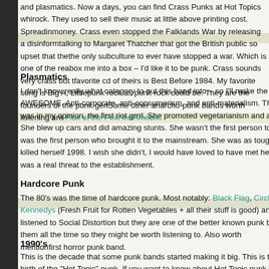and plasmatics. Now a days, you can find Crass Punks at Hot Topic which is very ironic since they were anarcho-punk rock. They used to sell their music at little above printing cost. Spreading their message was worth more than making money. Crass even stopped the Falklands War by releasing a disinformation tape of Margaret Thatcher talking to Margaret Thatcher that got the British public so upset that they put pressure on the government. They are the only subculture to ever have stopped a war. Which is one of the reasons why, if I had to box me into a box – I'd like it to be punk. Crass sounds very crass but they were brilliant. My favorite cd of theirs is Best Before 1984. My favorite song is Big A, Little A. They were as punk rock as punk rock could be. They are the founders of the punk genre of anarcho-punk. Some other anarcho-punk bands worth listening are Flux of the Pink Indians and Amebix.
Plasmatics
I don't know really what category to put this band into – so I'll make them their own – AWESOME. Anti-corporate, anti-consumerism, and anti-materialism. The lead singer Wendy O Williams was in my opinion, the first riot grrrl. She promoted vegetarianism and animal rights. She blew up cars and did amazing stunts. She wasn't the first person to use shock tactics but she was the first person who brought it to the mainstream. She was as tough as any man could be. She killed herself 1998. I wish she didn't, I would have loved to have met her. She was a real threat to the establishment.
Hardcore Punk
The 80's was the time of hardcore punk. Most notably: Black Flag, Circle Jerks, Dead Kennedys (Fresh Fruit for Rotten Vegetables + all their stuff is good) and Minor Threat. I haven't listened to Social Distortion but they are one of the better known punk bands. People talk about them all the time so they might be worth listening to. Also worth mentioning: Misfits who were the first horror punk band.
1990's
This is the decade that some punk bands started making it big. This is the decade of the birth of the "Hot Topic" punk. If you want to know about Hot Topic punk - browse their cataloged online. Warn Tour and all that – not punk. Time of –